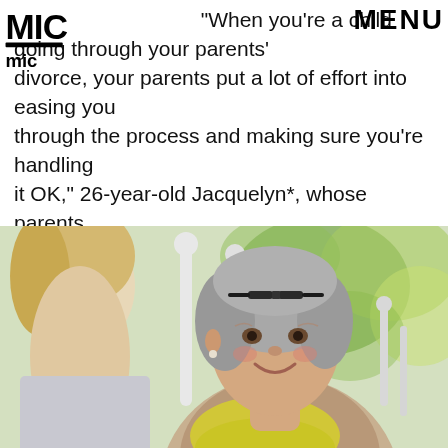MIC | MENU
"When you're a child going through your parents' divorce, your parents put a lot of effort into easing you through the process and making sure you're handling it OK," 26-year-old Jacquelyn*, whose parents separated when she was 18, told Mic. "When you're an adult, your parents look to you to help them go through the process."
[Figure (photo): Photograph of an older woman with gray hair and glasses on her head, smiling warmly. A younger blonde woman is partially visible in the foreground left. White chairs visible in background along with green bokeh foliage.]